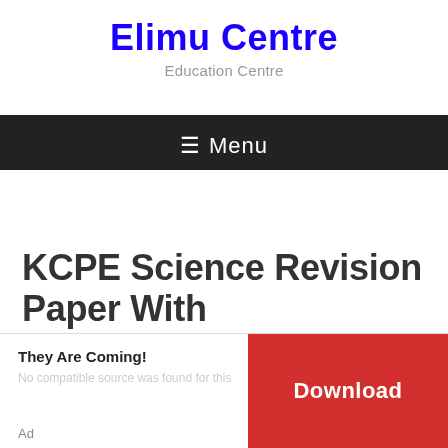Elimu Centre
Education Centre
≡ Menu
KCPE Science Revision Paper With Answers/Marking Scheme
Updated: April 25, 2022 by Betty Anderson
[Figure (other): Advertisement banner with 'They Are Coming!' text and a red Download button]
Ad